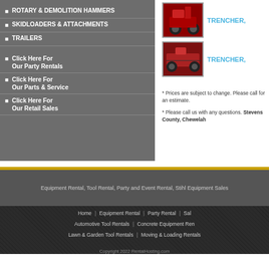ROTARY & DEMOLITION HAMMERS
SKIDLOADERS & ATTACHMENTS
TRAILERS
Click Here For Our Party Rentals
Click Here For Our Parts & Service
Click Here For Our Retail Sales
[Figure (photo): Red trencher machine]
TRENCHER,
[Figure (photo): Red trencher machine second view]
TRENCHER,
* Prices are subject to change. Please call for an estimate.
* Please call us with any questions. Stevens County, Chewelah
Equipment Rental, Tool Rental, Party and Event Rental, Stihl Equipment Sales
Home | Equipment Rental | Party Rental | Sal Automotive Tool Rentals | Concrete Equipment Ren Lawn & Garden Tool Rentals | Moving & Loading Rentals
Copyright 2022 RentalHosting.com